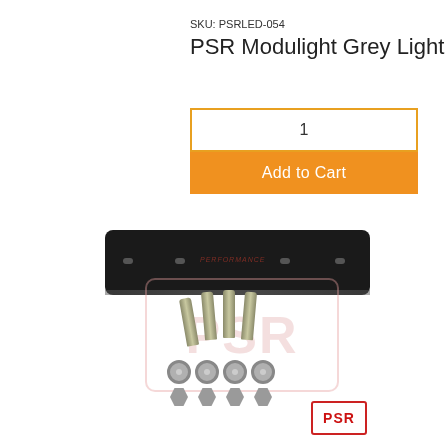SKU: PSRLED-054
PSR Modulight Grey Light Ring
1
Add to Cart
[Figure (photo): Product photo showing a black rectangular mounting plate with four mounting holes and PERFORMANCE text, with four bolts, four flat washers, and four lock nuts below it. A PSR brand watermark overlays the bolts area. A PSR logo badge is in the bottom right corner.]